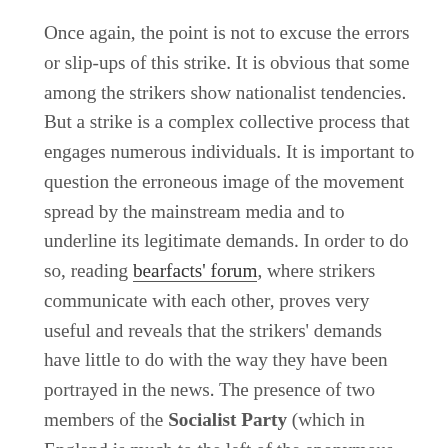Once again, the point is not to excuse the errors or slip-ups of this strike. It is obvious that some among the strikers show nationalist tendencies. But a strike is a complex collective process that engages numerous individuals. It is important to question the erroneous image of the movement spread by the mainstream media and to underline its legitimate demands. In order to do so, reading bearfacts' forum, where strikers communicate with each other, proves very useful and reveals that the strikers' demands have little to do with the way they have been portrayed in the news. The presence of two members of the Socialist Party (which in England is much to the left of the eponymous French party) in the strike committee is also telling of the stance of this movement. The information found on the party's website sums up the events and clearly contradict all the misconceptions broadcast left and right about the strike: